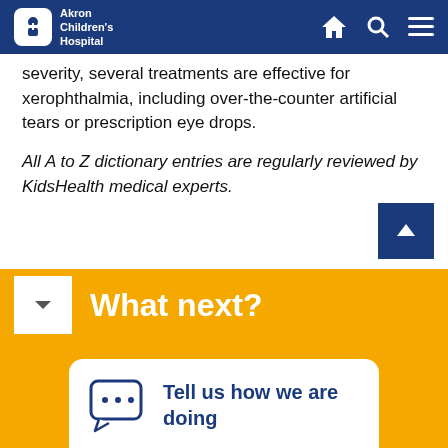Akron Children's Hospital
severity, several treatments are effective for xerophthalmia, including over-the-counter artificial tears or prescription eye drops.
All A to Z dictionary entries are regularly reviewed by KidsHealth medical experts.
What next?
Tell us how we are doing